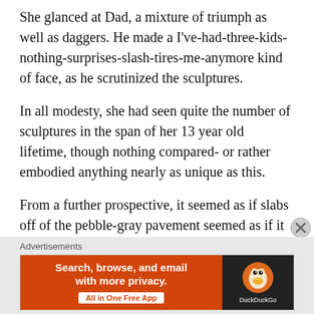She glanced at Dad, a mixture of triumph as well as daggers. He made a I've-had-three-kids-nothing-surprises-slash-tires-me-anymore kind of face, as he scrutinized the sculptures.
In all modesty, she had seen quite the number of sculptures in the span of her 13 year old lifetime, though nothing compared- or rather embodied anything nearly as unique as this.
From a further prospective, it seemed as if slabs off of the pebble-gray pavement seemed as if it were levitating; although at intimate inspection, hundreds of thousands minuscule men- and women, had been bolstering the bottom.
[Figure (other): DuckDuckGo advertisement banner: 'Search, browse, and email with more privacy. All in One Free App' on orange background with DuckDuckGo logo on dark background]